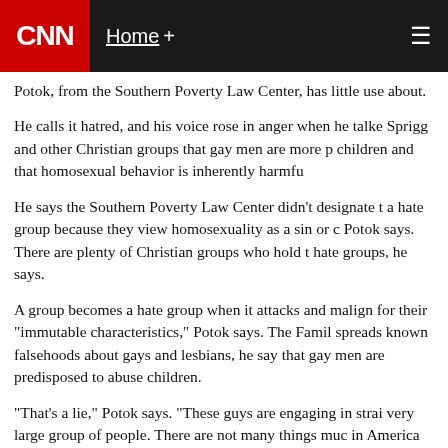CNN | Home +
Potok, from the Southern Poverty Law Center, has little use about.
He calls it hatred, and his voice rose in anger when he talked about claims by Sprigg and other Christian groups that gay men are more predisposed to abuse children and that homosexual behavior is inherently harmful.
He says the Southern Poverty Law Center didn't designate the Family Research Council a hate group because they view homosexuality as a sin or disagree with it, Potok says. There are plenty of Christian groups who hold that view that aren't hate groups, he says.
A group becomes a hate group when it attacks and maligns an entire group of people for their "immutable characteristics," Potok says. The Family Research Council spreads known falsehoods about gays and lesbians, he says, such as the claim that gay men are predisposed to abuse children.
"That's a lie," Potok says. "These guys are engaging in straight-up defamation of a very large group of people. There are not many things much worse you can say about somebody in America about somebody than they are a child molester."